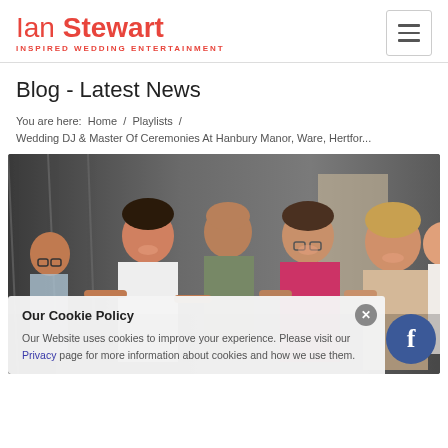Ian Stewart INSPIRED WEDDING ENTERTAINMENT
Blog - Latest News
You are here:  Home  /  Playlists  /  Wedding DJ & Master Of Ceremonies At Hanbury Manor, Ware, Hertfor...
[Figure (photo): Group of people dancing and celebrating at a wedding reception, smiling and holding hands. Indoor venue with drapes in background.]
Our Cookie Policy
Our Website uses cookies to improve your experience. Please visit our Privacy page for more information about cookies and how we use them.